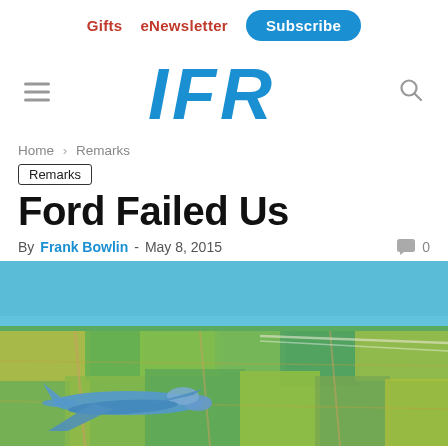Gifts  eNewsletter  Subscribe
[Figure (logo): IFR magazine logo in bold blue italic letters]
Home › Remarks
Remarks
Ford Failed Us
By Frank Bowlin - May 8, 2015  💬 0
[Figure (photo): Aerial photograph of a blue aircraft flying low over a patchwork of green agricultural fields under a blue sky]